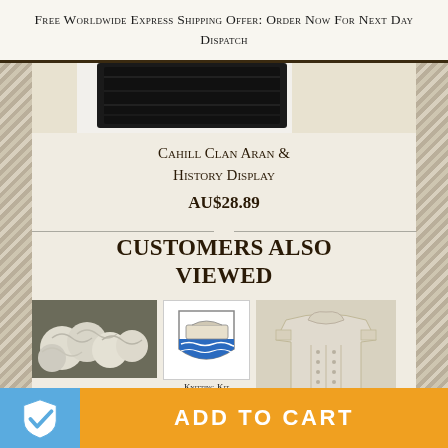Free Worldwide Express Shipping Offer: Order Now For Next Day Dispatch
[Figure (photo): Product image showing black framed display (partially visible, cropped at top)]
Cahill Clan Aran & History Display
AU$28.89
CUSTOMERS ALSO VIEWED
[Figure (photo): Thumbnail of yarn knitting kit - white/cream yarn balls]
[Figure (photo): Thumbnail of heraldic crest with blue shield design]
Knitting Kit
[Figure (photo): Thumbnail of cream/beige Aran knit sweater]
ADD TO CART